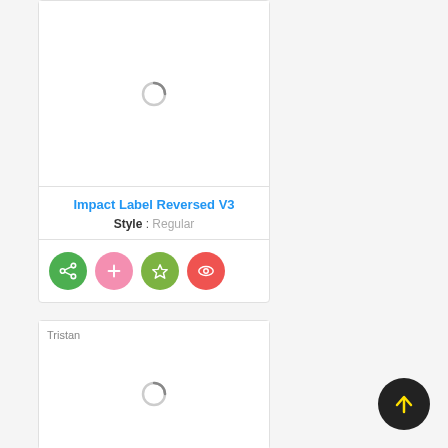[Figure (screenshot): Font card showing loading spinner for Impact Label Reversed V3 font preview]
Impact Label Reversed V3
Style : Regular
[Figure (infographic): Action buttons: share (green), add (pink), favorite (green), view (red)]
[Figure (screenshot): Second font card showing 'Tristan' label and loading spinner]
[Figure (infographic): Floating action button with upward arrow, black circle with yellow arrow]